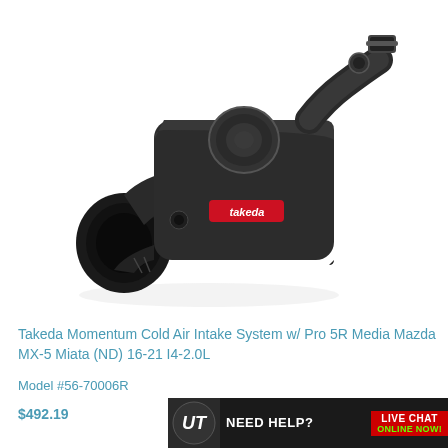[Figure (photo): A black Takeda Momentum Cold Air Intake System with Pro 5R Media. The unit features a matte black box-style air filter housing with a red 'takeda' logo badge on the side, a circular intake port on the front, and a curved intake pipe at the top right.]
Takeda Momentum Cold Air Intake System w/ Pro 5R Media Mazda MX-5 Miata (ND) 16-21 I4-2.0L
Model #56-70006R
$492.19
[Figure (infographic): A dark banner reading NEED HELP? with a UT logo on the left and LIVE CHAT / ONLINE NOW! on the right in red and green text.]